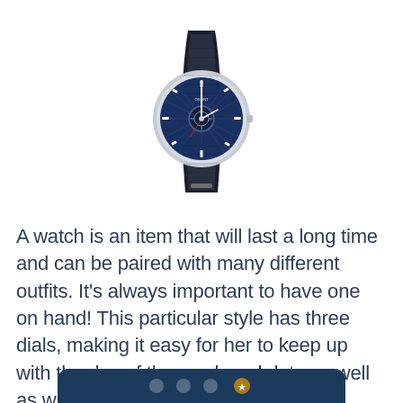[Figure (photo): A wristwatch with a blue dial and open heart complication, silver case, and dark navy/black leather strap. The Orient brand watch is shown from the front.]
A watch is an item that will last a long time and can be paired with many different outfits. It's always important to have one on hand! This particular style has three dials, making it easy for her to keep up with the day of the week and date as well as what time it is and it is also water-resistant.
[Figure (other): Partial view of a dark navy rounded button/bar at the bottom of the page with icons.]